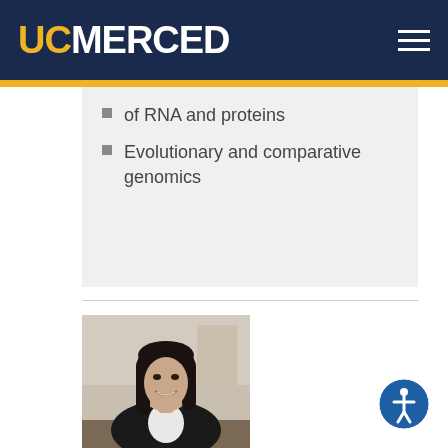UC MERCED
of RNA and proteins
Evolutionary and comparative genomics
[Figure (photo): Portrait photo of a woman with dark hair, wearing a black jacket and white blouse, seated at a desk, smiling at the camera.]